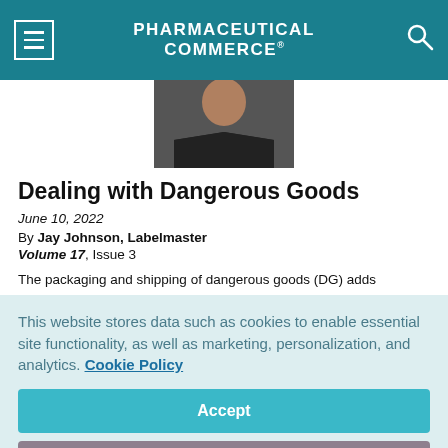PHARMACEUTICAL COMMERCE
[Figure (photo): Headshot of author Jay Johnson from Labelmaster, wearing a dark suit and light blue shirt, cropped to show face and upper chest.]
Dealing with Dangerous Goods
June 10, 2022
By Jay Johnson, Labelmaster
Volume 17, Issue 3
The packaging and shipping of dangerous goods (DG) adds
This website stores data such as cookies to enable essential site functionality, as well as marketing, personalization, and analytics. Cookie Policy
Accept
Deny